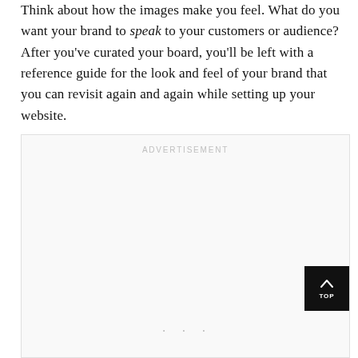Think about how the images make you feel. What do you want your brand to speak to your customers or audience? After you've curated your board, you'll be left with a reference guide for the look and feel of your brand that you can revisit again and again while setting up your website.
[Figure (other): Advertisement placeholder box with 'ADVERTISEMENT' label, a 'TOP' back-to-top button in the lower right, and three dots indicator near the bottom center.]